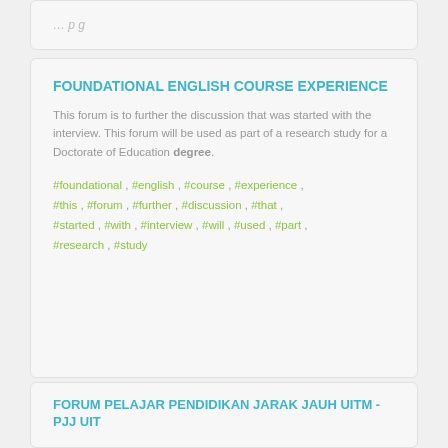…(truncated card top content)…
FOUNDATIONAL ENGLISH COURSE EXPERIENCE
This forum is to further the discussion that was started with the interview. This forum will be used as part of a research study for a Doctorate of Education degree.
#foundational , #english , #course , #experience , #this , #forum , #further , #discussion , #that , #started , #with , #interview , #will , #used , #part , #research , #study
FORUM PELAJAR PENDIDIKAN JARAK JAUH UITM - PJJ UIT
Forum Pelajar Pendidikan Jarak Jauh UiTM - PJJ UiTM
#uitm , #degree, #course , #intake , #ined , #shah , #alam , #pendidikan , #jarak , #jauh , #tasik , #pkns